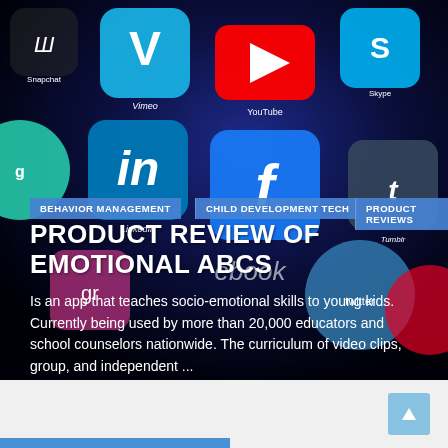[Figure (photo): Close-up photo of a smartphone screen showing multiple social media app icons including Vimeo, YouTube, LinkedIn, Facebook, Twitter, Tumblr, Skype, and others on a dark background.]
BEHAVIOR MANAGEMENT
CHILD DEVELOPMENT TECH
PRODUCT REVIEWS
PRODUCT REVIEW OF EMOTIONAL ABCS
Is an app that teaches socio-emotional skills to young kids. Currently being used by more than 20,000 educators and school counselors nationwide. The curriculum of video clips, group, and independent ...